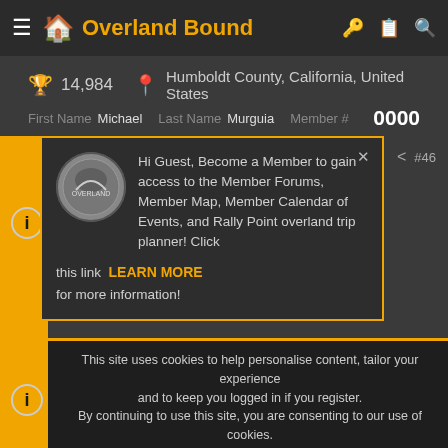≡ 🏠 Overland Bound   🔑 📋 🔍
🏆 14,984  📍 Humboldt County, California, United States
First Name  Michael  Last Name  Murquia  Member #  0000
[Figure (screenshot): Popup modal with coin logo and text: Hi Guest, Become a Member to gain access to the Member Forums, Member Map, Member Calendar of Events, and Rally Point overland trip planner! Click this link LEARN MORE for more information!]
View attachment RPReplay_Final1648758994.mov
This site uses cookies to help personalise content, tailor your experience and to keep you logged in if you register. By continuing to use this site, you are consenting to our use of cookies.
✅ ACCEPT    LEARN MORE...